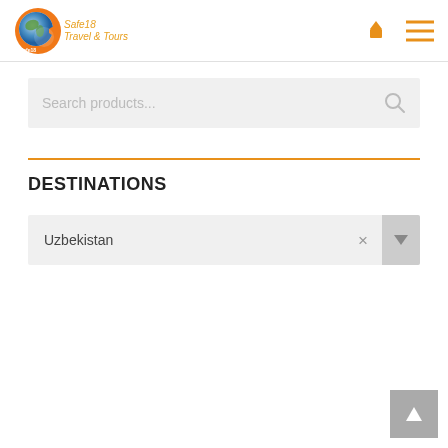[Figure (logo): Safe18 Travel & Tours logo with globe icon and orange text]
[Figure (infographic): Search products input bar with magnifying glass icon]
DESTINATIONS
[Figure (infographic): Dropdown filter showing 'Uzbekistan' with X close button and dropdown arrow]